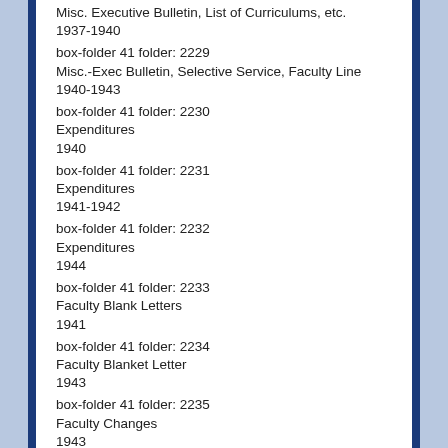box-folder 41 folder: 2229
Misc.-Exec Bulletin, Selective Service, Faculty Line
1940-1943
box-folder 41 folder: 2230
Expenditures
1940
box-folder 41 folder: 2231
Expenditures
1941-1942
box-folder 41 folder: 2232
Expenditures
1944
box-folder 41 folder: 2233
Faculty Blank Letters
1941
box-folder 41 folder: 2234
Faculty Blanket Letter
1943
box-folder 41 folder: 2235
Faculty Changes
1943
box-folder 41 folder: 2236
Misc.-List of Faculty, etc.
1932
box-folder 41 folder: 2237
[cut off]